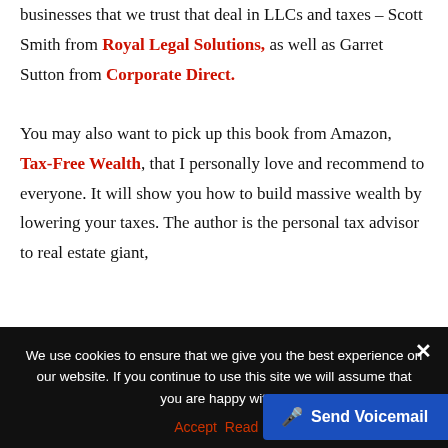businesses that we trust that deal in LLCs and taxes – Scott Smith from Royal Legal Solutions, as well as Garret Sutton from Corporate Direct.

You may also want to pick up this book from Amazon, Tax-Free Wealth, that I personally love and recommend to everyone. It will show you how to build massive wealth by lowering your taxes. The author is the personal tax advisor to real estate giant,
We use cookies to ensure that we give you the best experience on our website. If you continue to use this site we will assume that you are happy with it.
Accept  Read M...